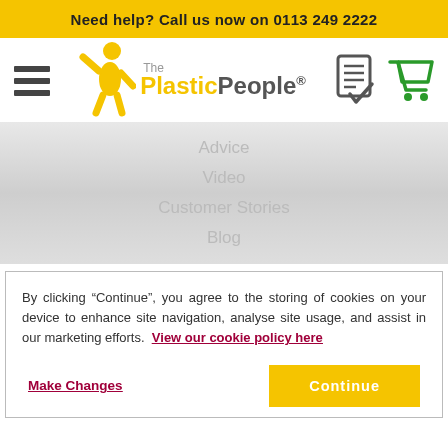Need help? Call us now on 0113 249 2222
[Figure (logo): The Plastic People logo with yellow figure, hamburger menu icon, order and cart icons]
Advice
Video
Customer Stories
Blog
By clicking “Continue”, you agree to the storing of cookies on your device to enhance site navigation, analyse site usage, and assist in our marketing efforts. View our cookie policy here
Make Changes
Continue